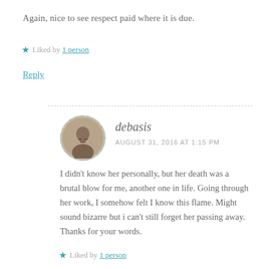Again, nice to see respect paid where it is due.
Liked by 1 person
Reply
debasis
AUGUST 31, 2016 AT 1:15 PM
I didn’t know her personally, but her death was a brutal blow for me, another one in life. Going through her work, I somehow felt I know this flame. Might sound bizarre but i can’t still forget her passing away. Thanks for your words.
Liked by 1 person